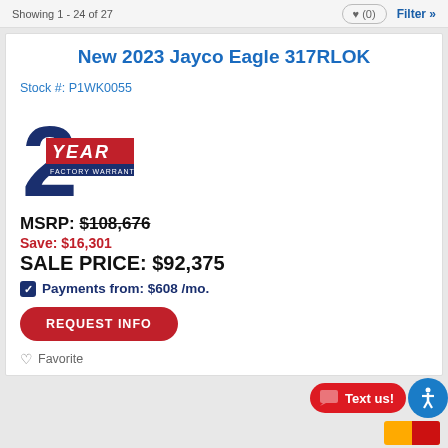Showing 1 - 24 of 27
New 2023 Jayco Eagle 317RLOK
Stock #: P1WK0055
[Figure (logo): 2 Year Factory Warranty badge — large dark blue '2' with red ribbon reading 'YEAR' and sub-text 'FACTORY WARRANTY']
MSRP: $108,676
Save: $16,301
SALE PRICE: $92,375
Payments from: $608 /mo.
REQUEST INFO
Favorite
Text us!